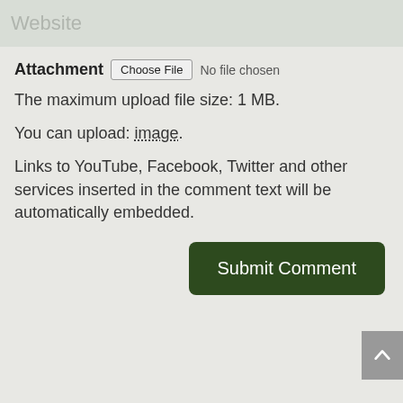Website
Attachment   Choose File   No file chosen
The maximum upload file size: 1 MB.
You can upload: image.
Links to YouTube, Facebook, Twitter and other services inserted in the comment text will be automatically embedded.
[Figure (screenshot): Submit Comment button (dark green rounded rectangle) and a scroll-to-top arrow button (grey square, partially visible at right edge)]